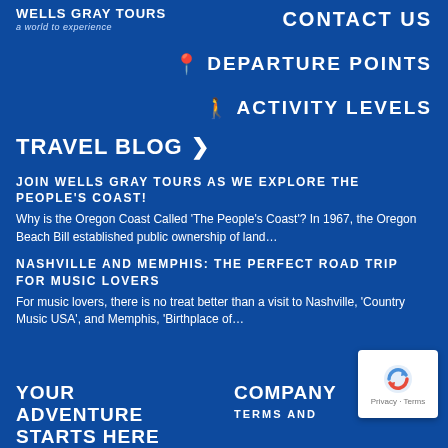WELLS GRAY TOURS
a world to experience
CONTACT US
DEPARTURE POINTS
ACTIVITY LEVELS
TRAVEL BLOG
JOIN WELLS GRAY TOURS AS WE EXPLORE THE PEOPLE'S COAST!
Why is the Oregon Coast Called ‘The People’s Coast’? In 1967, the Oregon Beach Bill established public ownership of land…
NASHVILLE AND MEMPHIS: THE PERFECT ROAD TRIP FOR MUSIC LOVERS
For music lovers, there is no treat better than a visit to Nashville, ‘Country Music USA’, and Memphis, ‘Birthplace of…
YOUR ADVENTURE STARTS HERE
COMPANY
TERMS AND